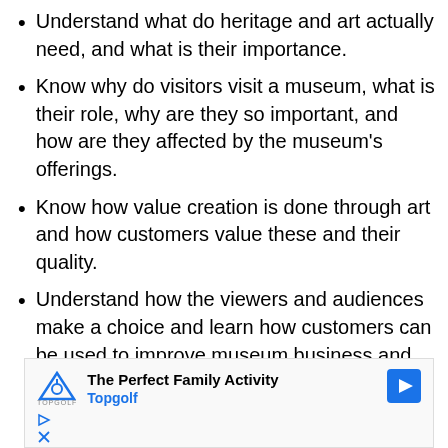Understand what do heritage and art actually need, and what is their importance.
Know why do visitors visit a museum, what is their role, why are they so important, and how are they affected by the museum's offerings.
Know how value creation is done through art and how customers value these and their quality.
Understand how the viewers and audiences make a choice and learn how customers can be used to improve museum business and offer valuable experiences.
[Figure (other): Advertisement banner for Topgolf showing logo, text 'The Perfect Family Activity', 'Topgolf', a navigation arrow icon, and ad controls (play and close buttons).]